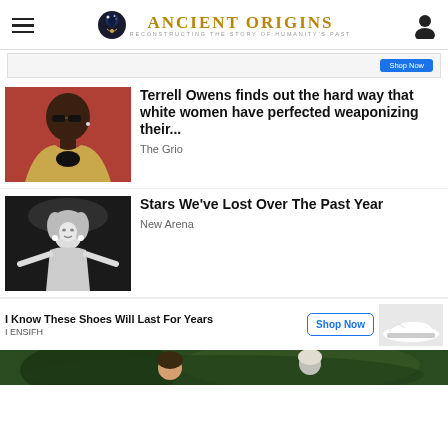Ancient Origins — Reconstructing the Story of Humanity's Past
[Figure (screenshot): Ad bar with blue button]
[Figure (photo): Terrell Owens wearing sunglasses and gold blazer]
Terrell Owens finds out the hard way that white women have perfected weaponizing their...
The Grio
[Figure (photo): Black and white photo of female performer on stage]
Stars We've Lost Over The Past Year
New Arena
I Know These Shoes Will Last For Years
I ENSIFH
[Figure (screenshot): Shop Now ad button with shoe image]
[Figure (photo): Two people in jungle/outdoor setting at bottom of page]